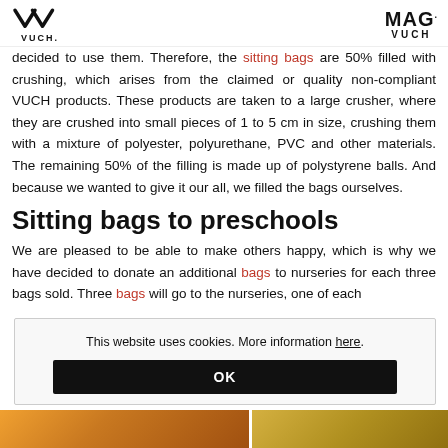VUCH | MAG. VUCH
decided to use them. Therefore, the sitting bags are 50% filled with crushing, which arises from the claimed or quality non-compliant VUCH products. These products are taken to a large crusher, where they are crushed into small pieces of 1 to 5 cm in size, crushing them with a mixture of polyester, polyurethane, PVC and other materials. The remaining 50% of the filling is made up of polystyrene balls. And because we wanted to give it our all, we filled the bags ourselves.
Sitting bags to preschools
We are pleased to be able to make others happy, which is why we have decided to donate an additional bags to nurseries for each three bags sold. Three bags will go to the nurseries, one of each
This website uses cookies. More information here.
OK
[Figure (photo): Bottom strip showing colorful photos]